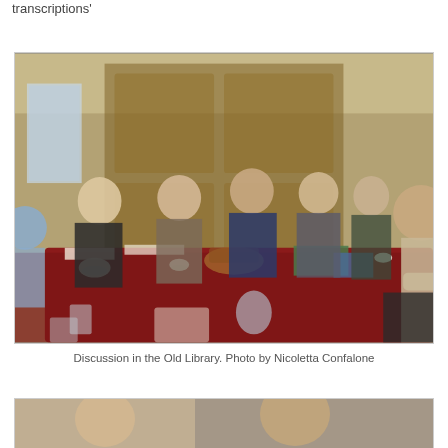transcriptions'
[Figure (photo): Group of people seated around a large table covered with a dark red tablecloth in a wood-panelled room (Old Library). Musical instruments (guitar, saxophone) and papers are on the table. Several men are engaged in discussion.]
Discussion in the Old Library. Photo by Nicoletta Confalone
[Figure (photo): Partial view of another photo at the bottom of the page, partially cut off.]